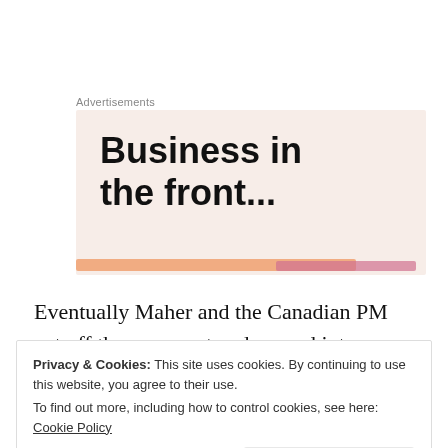Advertisements
[Figure (illustration): Advertisement banner with text 'Business in the front...' on a light pink/peach background with a decorative gradient stripe at the bottom]
Eventually Maher and the Canadian PM cut off the argument and segued into a conversation with Bill Owen, the Governor of Colorado who is being
Privacy & Cookies: This site uses cookies. By continuing to use this website, you agree to their use.
To find out more, including how to control cookies, see here: Cookie Policy
Close and accept
the Democrats gave prominent speaking slots to Ted